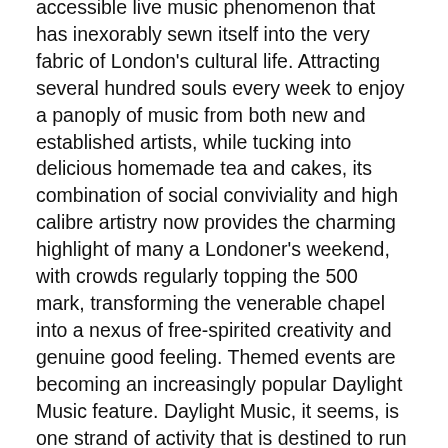accessible live music phenomenon that has inexorably sewn itself into the very fabric of London's cultural life. Attracting several hundred souls every week to enjoy a panoply of music from both new and established artists, while tucking into delicious homemade tea and cakes, its combination of social conviviality and high calibre artistry now provides the charming highlight of many a Londoner's weekend, with crowds regularly topping the 500 mark, transforming the venerable chapel into a nexus of free-spirited creativity and genuine good feeling. Themed events are becoming an increasingly popular Daylight Music feature. Daylight Music, it seems, is one strand of activity that is destined to run long into Arctic Circle's second decade.
Ten years on from its inception, it's surely time to celebrate the organic yet inexorable evolution of Arctic Circle, which has, over time, acquired the curatorial clout to present performances by the stellar likes of Michael